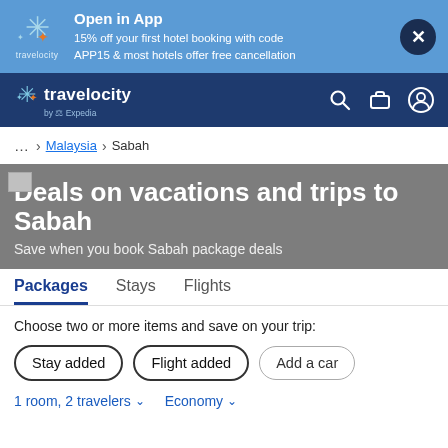[Figure (screenshot): Top blue promotional banner with Travelocity logo, text about 15% off hotel booking with code APP15, and a close button]
[Figure (screenshot): Travelocity navigation bar with logo, search, bag, and account icons on dark blue background]
... > Malaysia > Sabah
Deals on vacations and trips to Sabah
Save when you book Sabah package deals
Packages    Stays    Flights
Choose two or more items and save on your trip:
Stay added    Flight added    Add a car
1 room, 2 travelers    Economy